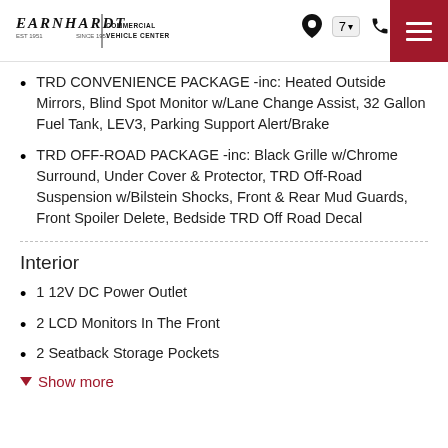Earnhardt Commercial Vehicle Center header with logo, location, phone icons, and navigation menu
TRD CONVENIENCE PACKAGE -inc: Heated Outside Mirrors, Blind Spot Monitor w/Lane Change Assist, 32 Gallon Fuel Tank, LEV3, Parking Support Alert/Brake
TRD OFF-ROAD PACKAGE -inc: Black Grille w/Chrome Surround, Under Cover & Protector, TRD Off-Road Suspension w/Bilstein Shocks, Front & Rear Mud Guards, Front Spoiler Delete, Bedside TRD Off Road Decal
Interior
1 12V DC Power Outlet
2 LCD Monitors In The Front
2 Seatback Storage Pockets
Show more